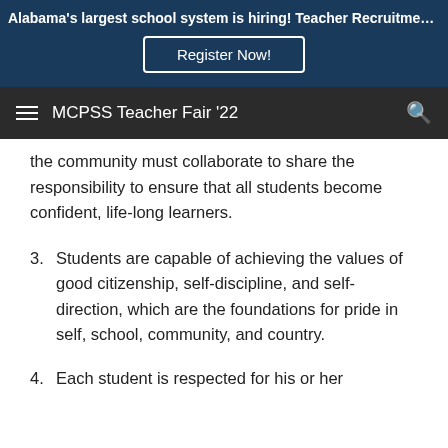Alabama's largest school system is hiring! Teacher Recruitment F...
Register Now!
MCPSS Teacher Fair '22
the community must collaborate to share the responsibility to ensure that all students become confident, life-long learners.
3. Students are capable of achieving the values of good citizenship, self-discipline, and self-direction, which are the foundations for pride in self, school, community, and country.
4. Each student is respected for his or her